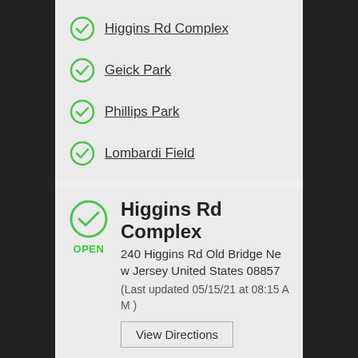Higgins Rd Complex
Geick Park
Phillips Park
Lombardi Field
Higgins Rd Complex
240 Higgins Rd Old Bridge New Jersey United States 08857
(Last updated 05/15/21 at 08:15 AM )
OPEN
View Directions
Shulman - upper field
(Last updated 05/15/21 at 08:16 AM )